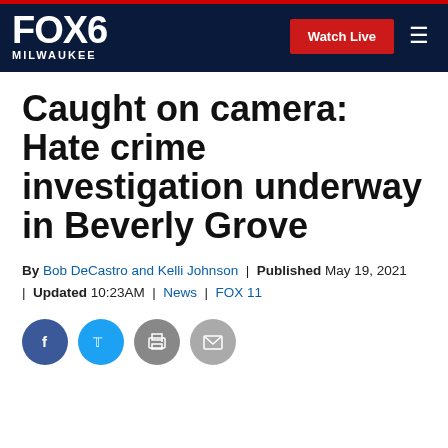FOX6 MILWAUKEE | Watch Live
Caught on camera: Hate crime investigation underway in Beverly Grove
By Bob DeCastro and Kelli Johnson | Published May 19, 2021 | Updated 10:23AM | News | FOX 11
[Figure (other): Social media share buttons: Facebook, Twitter, Print, Email]